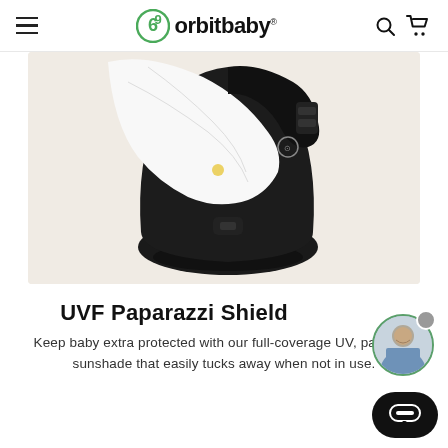orbit baby
[Figure (photo): Close-up photo of an Orbit Baby car seat with a white UVF Paparazzi Shield sunshade covering the seat, black seat body and base visible, on a beige/cream background.]
UVF Paparazzi Shield
Keep baby extra protected with our full-coverage UV, patented sunshade that easily tucks away when not in use.